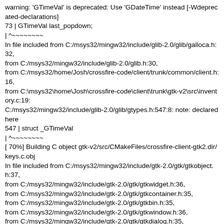warning: 'GTimeVal' is deprecated: Use 'GDateTime' instead [-Wdeprecated-declarations]
73 | GTimeVal last_popdown;
| ^~~~~~~~~
In file included from C:/msys32/mingw32/include/glib-2.0/glib/galloca.h:32,
from C:/msys32/mingw32/include/glib-2.0/glib.h:30,
from C:/msys32/home/Josh/crossfire-code/client/trunk/common/client.h:16,
from C:\msys32\home\Josh\crossfire-code\client\trunk\gtk-v2\src\inventory.c:19:
C:/msys32/mingw32/include/glib-2.0/glib/gtypes.h:547:8: note: declared here
547 | struct _GTimeVal
| ^~~~~~~~~
[ 70%] Building C object gtk-v2/src/CMakeFiles/crossfire-client-gtk2.dir/keys.c.obj
In file included from C:/msys32/mingw32/include/gtk-2.0/gtk/gtkobject.h:37,
from C:/msys32/mingw32/include/gtk-2.0/gtk/gtkwidget.h:36,
from C:/msys32/mingw32/include/gtk-2.0/gtk/gtkcontainer.h:35,
from C:/msys32/mingw32/include/gtk-2.0/gtk/gtkbin.h:35,
from C:/msys32/mingw32/include/gtk-2.0/gtk/gtkwindow.h:36,
from C:/msys32/mingw32/include/gtk-2.0/gtk/gtkdialog.h:35,
from C:/msys32/mingw32/include/gtk-2.0/gtk/gtkaboutdialog.h:32,
from C:/msys32/mingw32/include/gtk-2.0/gtk/gtk.h:33